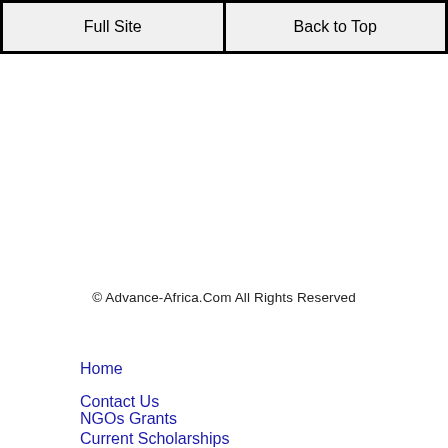Full Site | Back to Top
© Advance-Africa.Com All Rights Reserved
Home
Contact Us
NGOs Grants
Current Scholarships